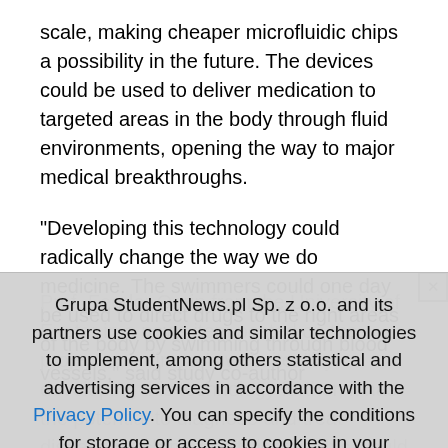scale, making cheaper microfluidic chips a possibility in the future. The devices could be used to deliver medication to targeted areas in the body through fluid environments, opening the way to major medical breakthroughs.
“Developing this technology could radically change the way we do medicine. The swimmers could one day be used to direct drugs to the right areas of the body by swimming through blood vessels,” said study co-author
Prof. Feodor Ogrin from the University of Exeter in a news item posted on the project coordinator’s website. “By developing this technology further, it has the potential to diagnose and treat disease much more efficiently. This would drastically reduce the time taken before treatments can be implemented, potentially saving lives.”
Grupa StudentNews.pl Sp. z o.o. and its partners use cookies and similar technologies to implement, among others statistical and advertising services in accordance with the Privacy Policy. You can specify the conditions for storage or access to cookies in your browser. [CLOSE]